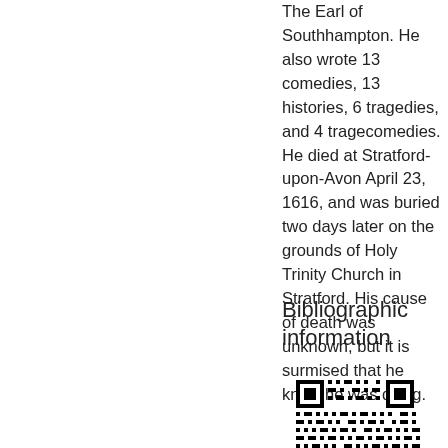The Earl of Southhampton. He also wrote 13 comedies, 13 histories, 6 tragedies, and 4 tragecomedies. He died at Stratford-upon-Avon April 23, 1616, and was buried two days later on the grounds of Holy Trinity Church in Stratford. His cause of death was unknown, but it is surmised that he knew he was dying.
Bibliographic information
[Figure (other): QR code for bibliographic information]